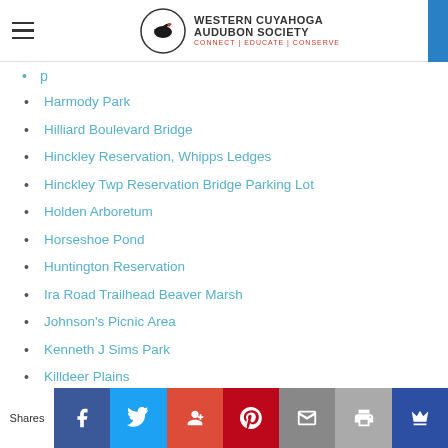Western Cuyahoga Audubon Society — Connect | Educate | Conserve
Harmody Park
Hilliard Boulevard Bridge
Hinckley Reservation, Whipps Ledges
Hinckley Twp Reservation Bridge Parking Lot
Holden Arboretum
Horseshoe Pond
Huntington Reservation
Ira Road Trailhead Beaver Marsh
Johnson's Picnic Area
Kenneth J Sims Park
Killdeer Plains
Lake Abram to Lake Isaac Trail
Lake Erie Nature & Science Center
Shares | Facebook | Twitter | Google+ | Pinterest | Email | Print | Crown